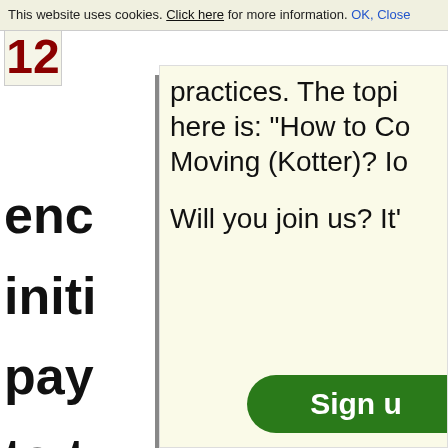This website uses cookies. Click here for more information. OK, Close
12
enc
initi
pay
to t
can
fre
mi
practices. The topi here is: "How to Co Moving (Kotter)? Io
Will you join us? It'
Sign u